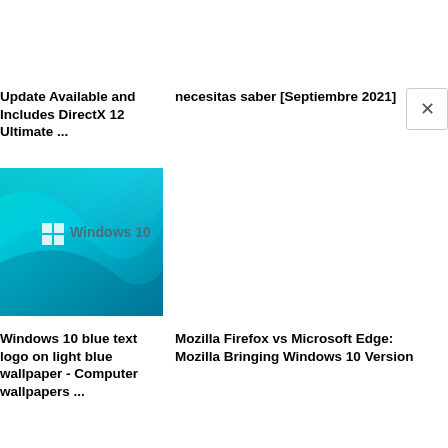Update Available and Includes DirectX 12 Ultimate ...
necesitas saber [Septiembre 2021]
[Figure (screenshot): Windows 10 logo on light blue/teal wavy wallpaper background]
Windows 10 blue text logo on light blue wallpaper - Computer wallpapers ...
Mozilla Firefox vs Microsoft Edge: Mozilla Bringing Windows 10 Version